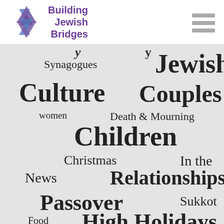[Figure (logo): Building Jewish Bridges logo with Star of David in blue/purple tones and text 'Building Jewish Bridges' in purple]
[Figure (infographic): Word cloud on grey background with topics: Synagogues, Jewish, Culture, Couples, women, Death & Mourning, Children, Christmas, In the News, Relationships, Passover, Sukkot, Food, High Holidays, Parenting, Mixed & Matched — varying font sizes indicating frequency/importance]